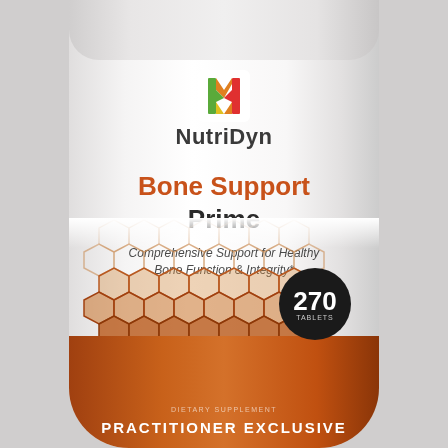[Figure (photo): NutriDyn Bone Support Prime supplement bottle — white cylindrical bottle with NutriDyn logo at top (colorful N icon), product name 'Bone Support Prime' in orange and black bold text, subtitle 'Comprehensive Support for Healthy Bone Function & Integrity*', honeycomb decorative pattern in brown/tan tones in lower section, black circular badge showing '270 TABLETS', and a brown/orange bottom band reading 'PRACTITIONER EXCLUSIVE'. 270 tablets dietary supplement.]